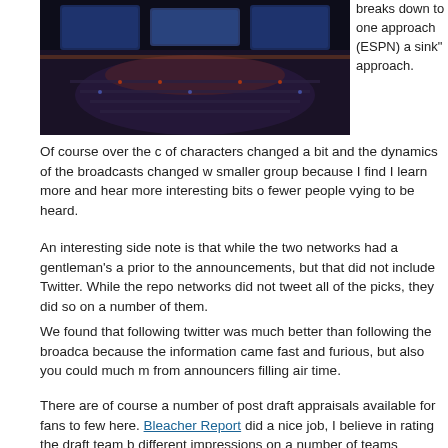[Figure (photo): Wide-angle photo of an NFL Draft event venue with large screens, crowds, and broadcast setup visible from above]
breaks down to one approach (ESPN) a sink" approach.
Of course over the c of characters changed a bit and the dynamics of the broadcasts changed w smaller group because I find I learn more and hear more interesting bits o fewer people vying to be heard.
An interesting side note is that while the two networks had a gentleman's a prior to the announcements, but that did not include Twitter. While the repo networks did not tweet all of the picks, they did so on a number of them.
We found that following twitter was much better than following the broadca because the information came fast and furious, but also you could much m from announcers filling air time.
There are of course a number of post draft appraisals available for fans to few here. Bleacher Report did a nice job, I believe in rating the draft team b different impressions on a number of teams compared to the BR ratings so they differed and where they agreed.
In the past I have read a few, not from BR, that seemed to give everybody buy it. Some picks are just strange, and some teams seem like they went